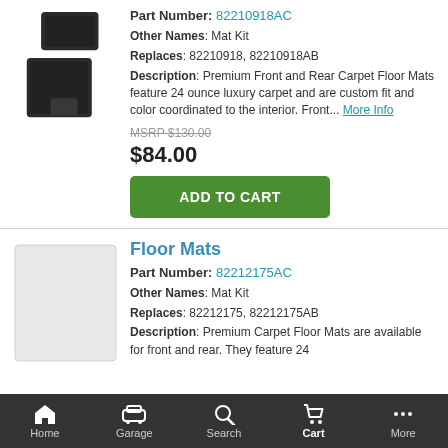[Figure (photo): Black carpet floor mats product image]
Part Number: 82210918AC
Other Names: Mat Kit
Replaces: 82210918, 82210918AB
Description: Premium Front and Rear Carpet Floor Mats feature 24 ounce luxury carpet and are custom fit and color coordinated to the interior. Front... More Info
MSRP $130.00
$84.00
ADD TO CART
[Figure (photo): Gray/light colored floor mat product image placeholder]
Floor Mats
Part Number: 82212175AC
Other Names: Mat Kit
Replaces: 82212175, 82212175AB
Description: Premium Carpet Floor Mats are available for front and rear. They feature 24
Home  Garage  Search  Cart  More